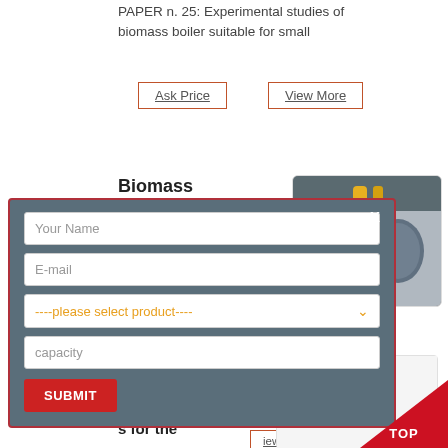PAPER n. 25: Experimental studies of biomass boiler suitable for small
Ask Price
View More
Biomass Boilers –
[Figure (photo): Industrial biomass boiler facility with yellow pipes and equipment]
boiler and heating e designed and e desired system.
[Figure (screenshot): Modal contact form with fields for Your Name, E-mail, product selection dropdown, capacity, and SUBMIT button on dark teal background with red border]
(PDF) Deriving guidelines for the
[Figure (photo): Blank/white document thumbnail]
[Figure (other): TOP button red triangle in bottom right corner]